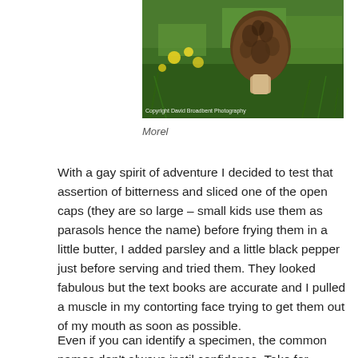[Figure (photo): A morel mushroom photographed among green grass and yellow wildflowers. Copyright David Broadbent Photography watermark visible at bottom of image.]
Morel
With a gay spirit of adventure I decided to test that assertion of bitterness and sliced one of the open caps (they are so large – small kids use them as parasols hence the name) before frying them in a little butter, I added parsley and a little black pepper just before serving and tried them. They looked fabulous but the text books are accurate and I pulled a muscle in my contorting face trying to get them out of my mouth as soon as possible.
Even if you can identify a specimen, the common names don't always instil confidence. Take for example,